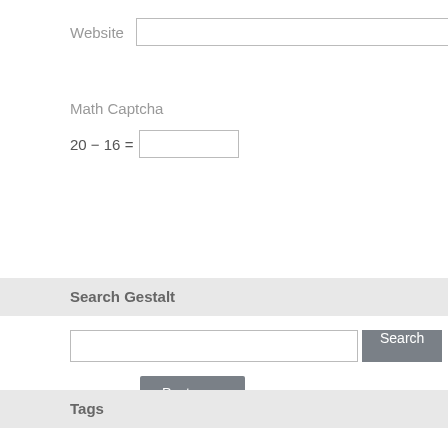Website [input field]
Math Captcha
20 − 16 = [input field]
Post Comment
Search Gestalt
[search input] Search
Tags
animal anime awa b&w black body color Colossalcon complexd magazine cosplay Disney diversity dreadlocks Emily face female Grace hdr head